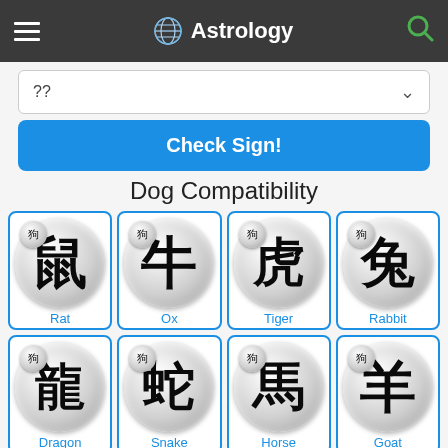Astrology
??
Check Sign!
Dog Compatibility
[Figure (infographic): Chinese zodiac compatibility grid showing Dog with Rat, Ox, Tiger, Rabbit (row 1) and Dragon, Snake, Horse, Goat (row 2). Each entry shows a silver sphere with a large Chinese character and a small Dog badge.]
Rat  Ox  Tiger  Rabbit  Dragon  Snake  Horse  Goat